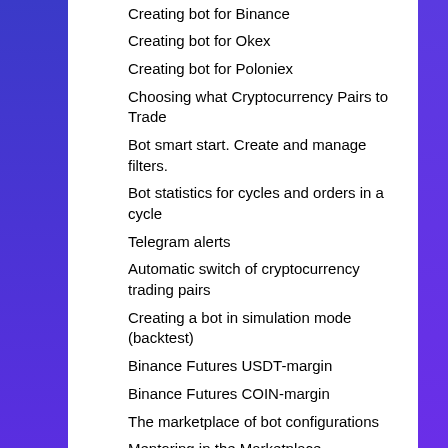Creating bot for Binance
Creating bot for Okex
Creating bot for Poloniex
Choosing what Cryptocurrency Pairs to Trade
Bot smart start. Create and manage filters.
Bot statistics for cycles and orders in a cycle
Telegram alerts
Automatic switch of cryptocurrency trading pairs
Creating a bot in simulation mode (backtest)
Binance Futures USDT-margin
Binance Futures COIN-margin
The marketplace of bot configurations
Mentoring in the Marketplace
Setting the number of active insurance orders. The most profitable use of your deposit.
How to recharge the RevenueBot balance correctly
Bot cases
Bot case: cycle with profit +38% to depo
Setting for the bot (calculator) with profit